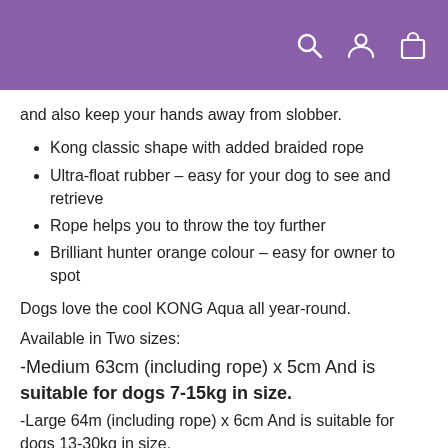and also keep your hands away from slobber.
Kong classic shape with added braided rope
Ultra-float rubber – easy for your dog to see and retrieve
Rope helps you to throw the toy further
Brilliant hunter orange colour – easy for owner to spot
Dogs love the cool KONG Aqua all year-round.
Available in Two sizes:
-Medium 63cm (including rope) x 5cm And is suitable for dogs 7-15kg in size.
-Large 64m (including rope) x 6cm And is suitable for dogs 13-30kg in size.